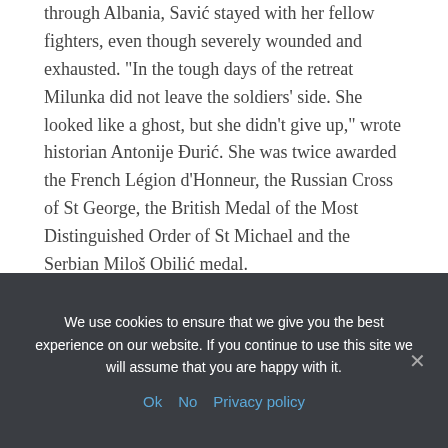through Albania, Savić stayed with her fellow fighters, even though severely wounded and exhausted. "In the tough days of the retreat Milunka did not leave the soldiers' side. She looked like a ghost, but she didn't give up," wrote historian Antonije Đurić. She was twice awarded the French Légion d'Honneur, the Russian Cross of St George, the British Medal of the Most Distinguished Order of St Michael and the Serbian Miloš Obilić medal.
France offered Savić  a pension and a place to live, but she chose to remain in her home country, working menial jobs.  When Serbia was occupied by
We use cookies to ensure that we give you the best experience on our website. If you continue to use this site we will assume that you are happy with it.